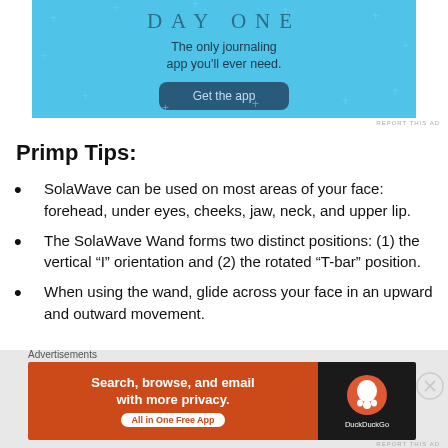[Figure (screenshot): Day One journaling app advertisement with sky blue background showing 'DAY ONE', tagline 'The only journaling app you'll ever need.', and a 'Get the app' button.]
Primp Tips:
SolaWave can be used on most areas of your face: forehead, under eyes, cheeks, jaw, neck, and upper lip.
The SolaWave Wand forms two distinct positions: (1) the vertical “I” orientation and (2) the rotated “T-bar” position.
When using the wand, glide across your face in an upward and outward movement.
[Figure (screenshot): DuckDuckGo advertisement: orange left panel with 'Search, browse, and email with more privacy. All in One Free App' and dark right panel with DuckDuckGo logo.]